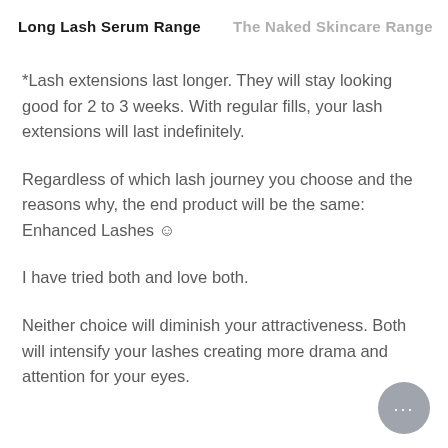Long Lash Serum Range    The Naked Skincare Range
*Lash extensions last longer. They will stay looking good for 2 to 3 weeks. With regular fills, your lash extensions will last indefinitely.
Regardless of which lash journey you choose and the reasons why, the end product will be the same: Enhanced Lashes ☺
I have tried both and love both.
Neither choice will diminish your attractiveness. Both will intensify your lashes creating more drama and attention for your eyes.
[Figure (other): Chat button icon — circular grey button with three dots]